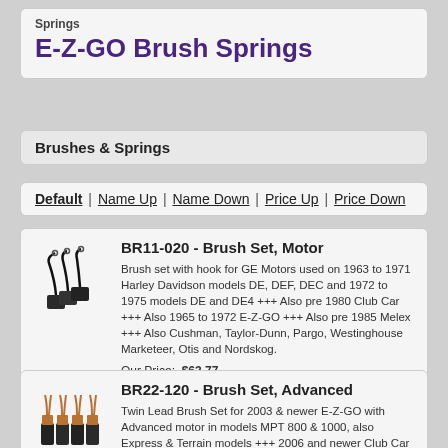Springs
E-Z-GO Brush Springs
Brushes & Springs
Default | Name Up | Name Down | Price Up | Price Down
[Figure (photo): Photo of motor brush set with wires/hooks]
BR11-020 - Brush Set, Motor
Brush set with hook for GE Motors used on 1963 to 1971 Harley Davidson models DE, DEF, DEC and 1972 to 1975 models DE and DE4 +++ Also pre 1980 Club Car +++ Also 1965 to 1972 E-Z-GO +++ Also pre 1985 Melex +++ Also Cushman, Taylor-Dunn, Pargo, Westinghouse Marketeer, Otis and Nordskog.
Our Price:  $63.77
[Figure (photo): Photo of twin lead brush set with copper leads]
BR22-120 - Brush Set, Advanced
Twin Lead Brush Set for 2003 & newer E-Z-GO with Advanced motor in models MPT 800 & 1000, also Express & Terrain models +++ 2006 and newer Club Car Villager and TransPorter models with IQ Plus system with 3.7hp motor +++ Also Motrec and Nordskog with Advanced motors with twin lead brushes.